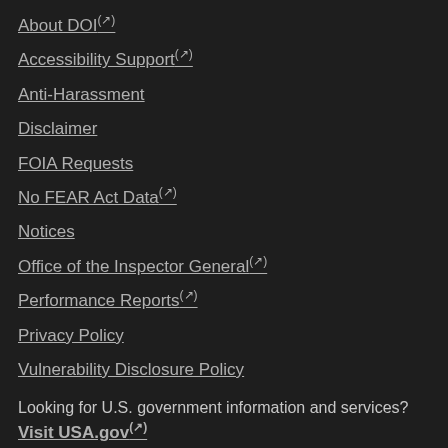About DOI (link is external)
Accessibility Support (link is external)
Anti-Harassment
Disclaimer
FOIA Requests
No FEAR Act Data (link is external)
Notices
Office of the Inspector General (link is external)
Performance Reports (link is external)
Privacy Policy
Vulnerability Disclosure Policy
Looking for U.S. government information and services?
Visit USA.gov (link is external)